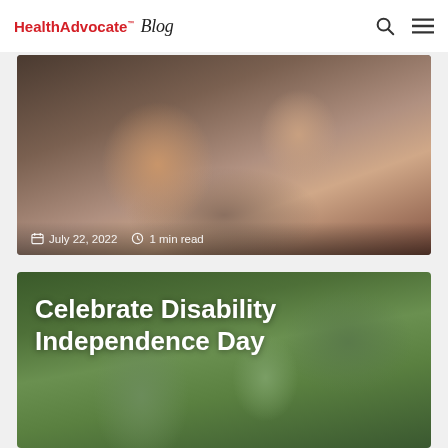HealthAdvocate Blog
[Figure (photo): Two young girls smiling and hugging, one wearing red heart-shaped sunglasses]
July 22, 2022   1 min read
[Figure (photo): Two women looking at a phone in a garden/plant nursery setting]
Celebrate Disability Independence Day